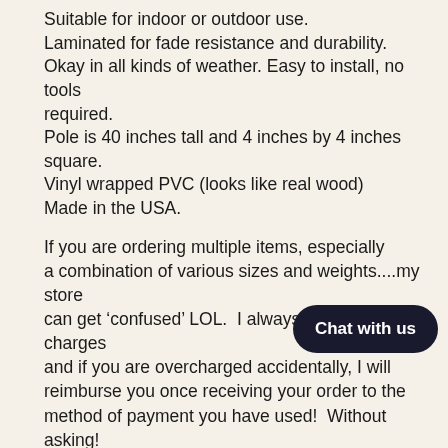Suitable for indoor or outdoor use.
Laminated for fade resistance and durability.
Okay in all kinds of weather. Easy to install, no tools required.
Pole is 40 inches tall and 4 inches by 4 inches square.
Vinyl wrapped PVC (looks like real wood)
Made in the USA.
If you are ordering multiple items, especially a combination of various sizes and weights....my store can get ‘confused’ LOL.  I always check shipping charges and if you are overcharged accidentally, I will reimburse you once receiving your order to the method of payment you have used!  Without asking!  Do not hesitate to contact me directly if you have questions about your order or charges. I actually answer the phone :) Steph @ 360-9...
Click on smaller images to the left of main image and use arrow pointing down to scroll thru various pictures